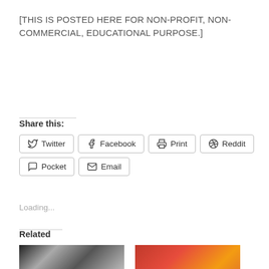[THIS IS POSTED HERE FOR NON-PROFIT, NON-COMMERCIAL, EDUCATIONAL PURPOSE.]
Share this:
Twitter  Facebook  Print  Reddit  Pocket  Email
Loading...
Related
[Figure (photo): Two related images: left is a black-and-white photo, right is a color photo with red/orange tones]